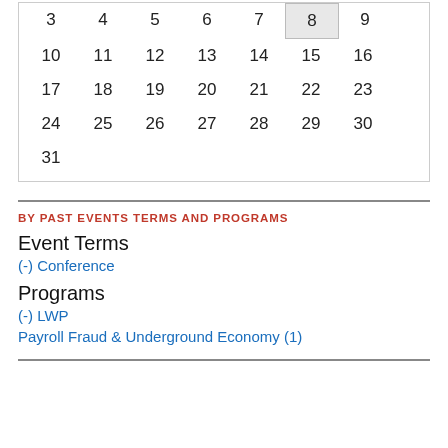| 3 | 4 | 5 | 6 | 7 | 8 | 9 |
| 10 | 11 | 12 | 13 | 14 | 15 | 16 |
| 17 | 18 | 19 | 20 | 21 | 22 | 23 |
| 24 | 25 | 26 | 27 | 28 | 29 | 30 |
| 31 |  |  |  |  |  |  |
BY PAST EVENTS TERMS AND PROGRAMS
Event Terms
(-) Conference
Programs
(-) LWP
Payroll Fraud & Underground Economy (1)